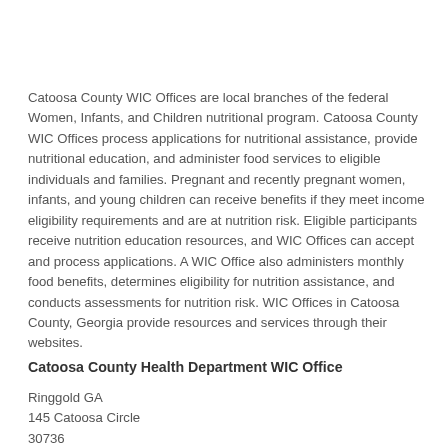Catoosa County WIC Offices are local branches of the federal Women, Infants, and Children nutritional program. Catoosa County WIC Offices process applications for nutritional assistance, provide nutritional education, and administer food services to eligible individuals and families. Pregnant and recently pregnant women, infants, and young children can receive benefits if they meet income eligibility requirements and are at nutrition risk. Eligible participants receive nutrition education resources, and WIC Offices can accept and process applications. A WIC Office also administers monthly food benefits, determines eligibility for nutrition assistance, and conducts assessments for nutrition risk. WIC Offices in Catoosa County, Georgia provide resources and services through their websites.
Catoosa County Health Department WIC Office
Ringgold GA
145 Catoosa Circle
30736